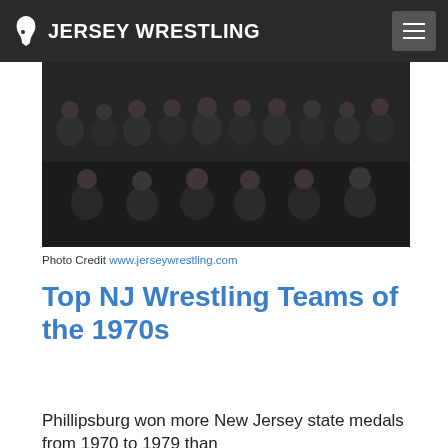JERSEY WRESTLING
[Figure (photo): Black and white team photo of a wrestling team from the 1970s, showing two rows of young men in dark warm-up jackets. Back row standing, front row kneeling.]
Photo Credit www.jerseywrestling.com
Top NJ Wrestling Teams of the 1970s
Phillipsburg won more New Jersey state medals from 1970 to 1979 than any other team in the state...